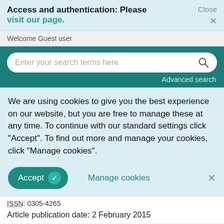Access and authentication: Please visit our page.   Close ×
Welcome Guest user
[Figure (screenshot): Search bar with placeholder text 'Enter your search terms here' and a magnifying glass icon, on a teal background with 'Advanced search' link]
We are using cookies to give you the best experience on our website, but you are free to manage these at any time. To continue with our standard settings click "Accept". To find out more and manage your cookies, click "Manage cookies".
Accept ✓   Manage cookies   ×
ISSN: 0305-4265
Article publication date: 2 February 2015